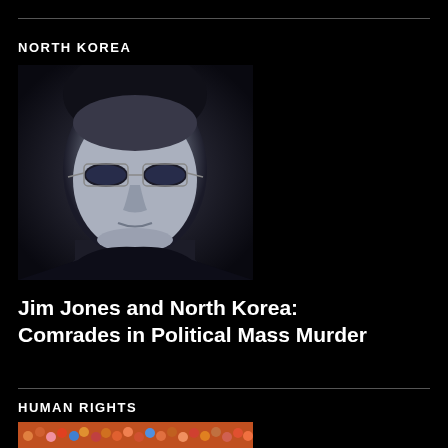NORTH KOREA
[Figure (photo): Black and white/blue-tinted portrait photo of a man wearing tinted rectangular glasses, close-up face shot]
Jim Jones and North Korea: Comrades in Political Mass Murder
HUMAN RIGHTS
[Figure (photo): Colorful crowd photo showing many people packed together]